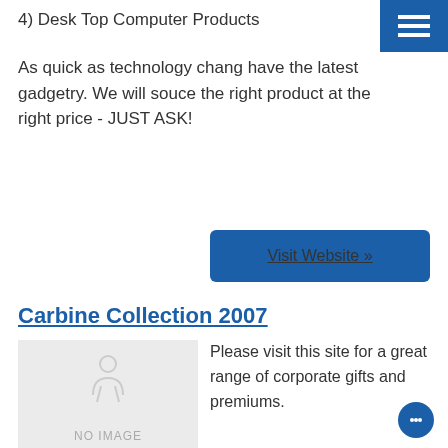4) Desk Top Computer Products
As quick as technology change have the latest gadgetry. We will souce the right product at the right price - JUST ASK!
Visit Website »
Carbine Collection 2007
[Figure (photo): No image placeholder with a light grey background and NO IMAGE text]
Please visit this site for a great range of corporate gifts and premiums.